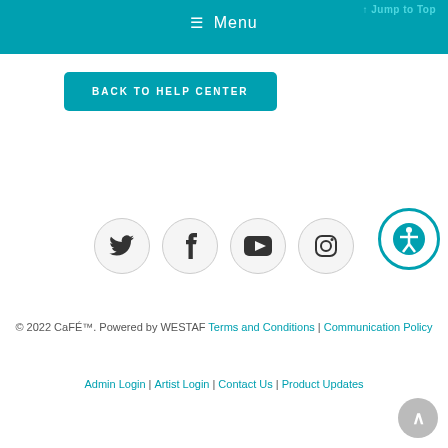↑ Jump to Top  ☰ Menu
BACK TO HELP CENTER
[Figure (infographic): Row of four social media icon circles: Twitter (bird), Facebook (f), YouTube (play button), Instagram (camera). Plus an accessibility icon circle (person with arms out) in teal border.]
© 2022 CaFÉ™. Powered by WESTAF Terms and Conditions | Communication Policy
Admin Login | Artist Login | Contact Us | Product Updates